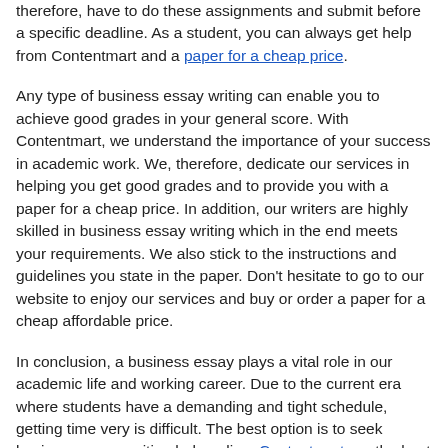therefore, have to do these assignments and submit before a specific deadline. As a student, you can always get help from Contentmart and a paper for a cheap price.
Any type of business essay writing can enable you to achieve good grades in your general score. With Contentmart, we understand the importance of your success in academic work. We, therefore, dedicate our services in helping you get good grades and to provide you with a paper for a cheap price. In addition, our writers are highly skilled in business essay writing which in the end meets your requirements. We also stick to the instructions and guidelines you state in the paper. Don’t hesitate to go to our website to enjoy our services and buy or order a paper for a cheap affordable price.
In conclusion, a business essay plays a vital role in our academic life and working career. Due to the current era where students have a demanding and tight schedule, getting time very is difficult. The best option is to seek business essay writing help online. Contentmart are the best in offering such services.